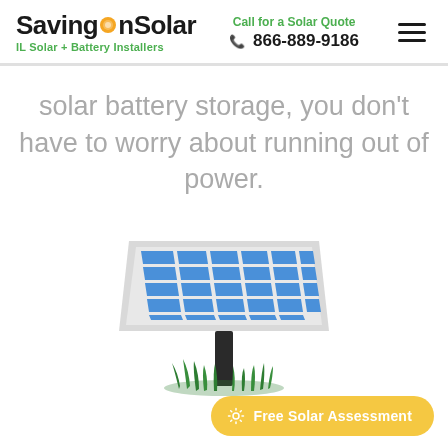SavingOnSolar — IL Solar + Battery Installers | Call for a Solar Quote 866-889-9186
solar battery storage, you don't have to worry about running out of power.
[Figure (illustration): Illustration of a solar panel mounted on a pole with grass at the base, against a white background.]
Free Solar Assessment